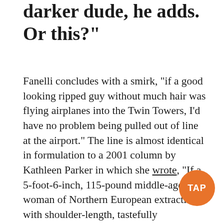darker dude, he adds. Or this?"
Fanelli concludes with a smirk, "if a good looking ripped guy without much hair was flying airplanes into the Twin Towers, I'd have no problem being pulled out of line at the airport." The line is almost identical in formulation to a 2001 column by Kathleen Parker in which she wrote, "If a 5-foot-6-inch, 115-pound middle-aged woman of Northern European extraction with shoulder-length, tastefully highlighted hair and dark-brown eyes who speaks English with a slight Southern accent recently had hijacked an airplane and killed thousands of people, I'd gladly subject myself to extra scrutiny."